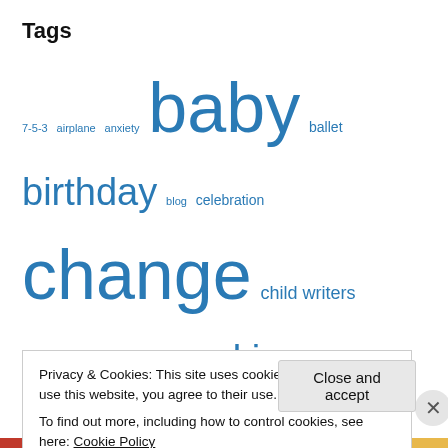Tags
7-5-3 airplane anxiety baby ballet birthday blog celebration change child writers cleaning clothes cooking dance Daughter death design English expat family fashion fear flowers flying freedom friends garden girls grace Grandparents growing Hanukah history home Ikea Japanese Jewish journal language leaving literacy lost marriage moving neighborhood nest party
Privacy & Cookies: This site uses cookies. By continuing to use this website, you agree to their use.
To find out more, including how to control cookies, see here: Cookie Policy
Close and accept